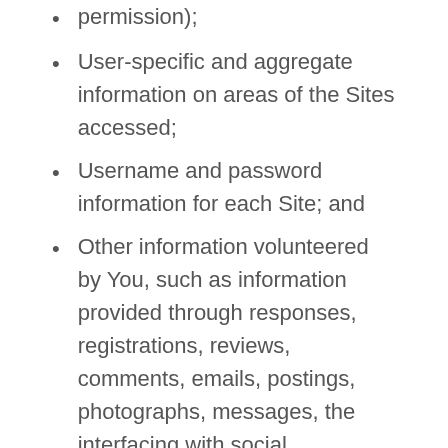permission);
User-specific and aggregate information on areas of the Sites accessed;
Username and password information for each Site; and
Other information volunteered by You, such as information provided through responses, registrations, reviews, comments, emails, postings, photographs, messages, the interfacing with social networking sites (such as a profile photo, birthday and status), or other electronic submissions and communications sent by you to Iconic or the Sites.
The Sites may have features that allow you to store and share your information or content with